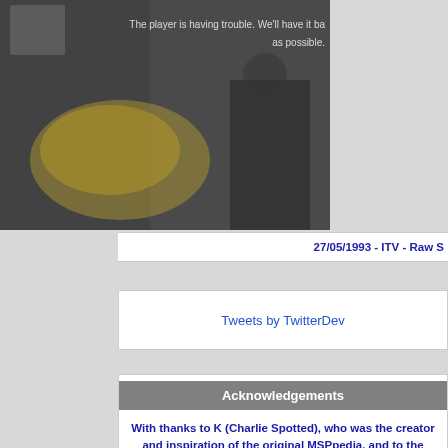[Figure (screenshot): Video player showing a darkened still image of a person with something large and yellow/straw-colored. An error message overlay reads: 'The player is having trouble. We'll have it back as possible.']
27/05/1993 - ITV - Raw S
Tweets by TwitterDev
Acknowledgements
With thanks to K (Charlie Spotted), who was the creator and inspiration of the original MSPpedia, and to the many contributors to the site.